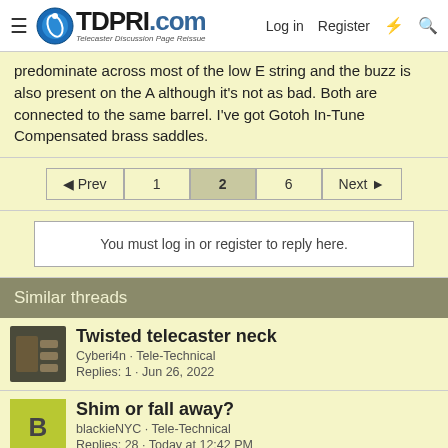TDPRI.com — Telecaster Discussion Page Reissue | Log in | Register
predominate across most of the low E string and the buzz is also present on the A although it's not as bad. Both are connected to the same barrel. I've got Gotoh In-Tune Compensated brass saddles.
◄ Prev  1  2  6  Next ►
You must log in or register to reply here.
Similar threads
Twisted telecaster neck
Cyberi4n · Tele-Technical
Replies: 1 · Jun 26, 2022
Shim or fall away?
blackieNYC · Tele-Technical
Replies: 28 · Today at 12:42 PM
2004 MIM with fret buzz.